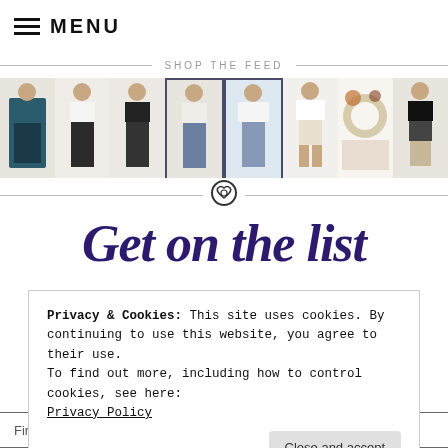MENU
SHOP THE FEED
[Figure (photo): A horizontal strip of fashion/lifestyle photos showing women in various outfits including jeans, tops, and casual wear, plus a food photo.]
Get on the list
Privacy & Cookies: This site uses cookies. By continuing to use this website, you agree to their use.
To find out more, including how to control cookies, see here:
Privacy Policy
Close and accept
First name